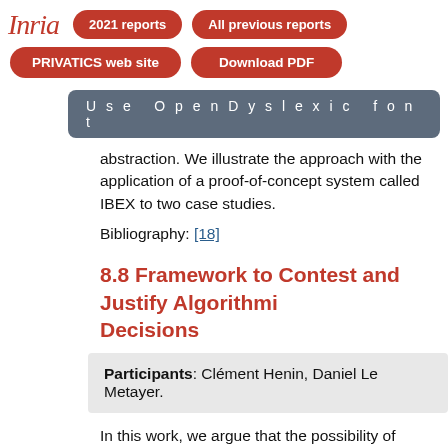[Figure (logo): Inria logo in red italic script]
2021 reports | All previous reports | PRIVATICS web site | Download PDF | Use OpenDyslexic font
abstraction. We illustrate the approach with the application of a proof-of-concept system called IBEX to two case studies.
Bibliography: [18]
8.8 Framework to Contest and Justify Algorithmic Decisions
Participants: Clément Henin, Daniel Le Metayer.
In this work, we argue that the possibility of contesting the results of Algorithmic Decision Systems (ADS) is a key requirement for ADS used to make decisions with a high impact on individuals. We study the limitations of explanations and motivate the need for better facilities to contest or justify the results of an ADS. While t